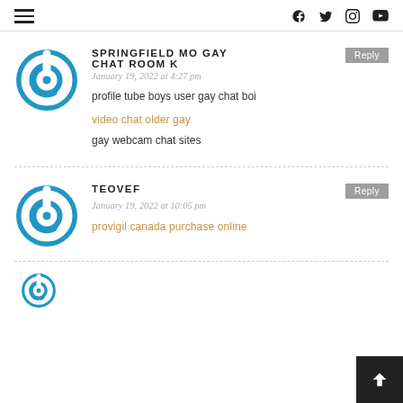Navigation and social icons (hamburger menu, f, twitter, instagram, youtube)
SPRINGFIELD MO GAY CHAT ROOM K
January 19, 2022 at 4:27 pm
profile tube boys user gay chat boi
video chat older gay
gay webcam chat sites
TEOVEF
January 19, 2022 at 10:05 pm
provigil canada purchase online